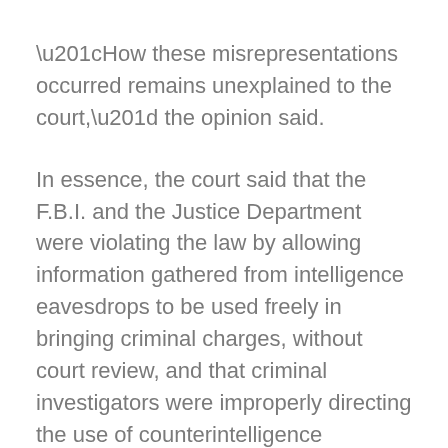“How these misrepresentations occurred remains unexplained to the court,” the opinion said.
In essence, the court said that the F.B.I. and the Justice Department were violating the law by allowing information gathered from intelligence eavesdrops to be used freely in bringing criminal charges, without court review, and that criminal investigators were improperly directing the use of counterintelligence wiretaps.
The opinion said that in September 2000, “the government came forward to confess errors in 75 FISA applications related to major terrorist attacks directed against the United States â€” the errors